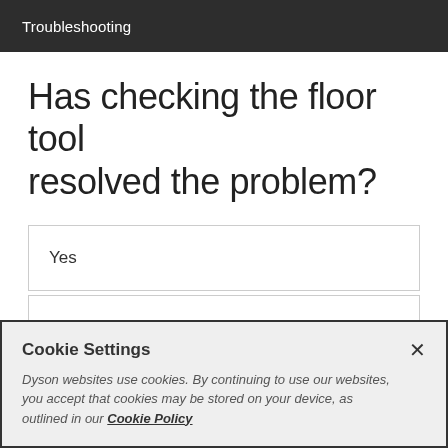Troubleshooting
Has checking the floor tool resolved the problem?
Yes
No
Cookie Settings
Dyson websites use cookies. By continuing to use our websites, you accept that cookies may be stored on your device, as outlined in our Cookie Policy